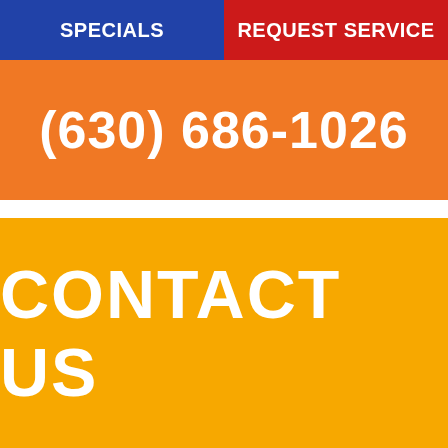SPECIALS
REQUEST SERVICE
(630) 686-1026
CONTACT US